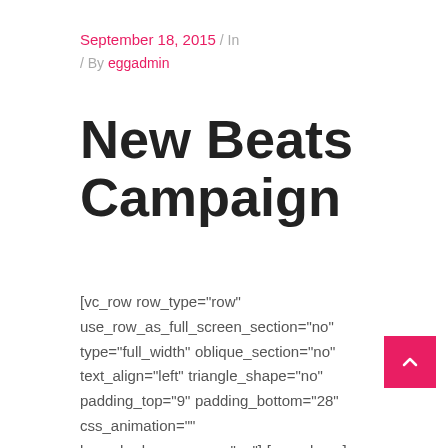September 18, 2015 / In / By eggadmin
New Beats Campaign
[vc_row row_type="row" use_row_as_full_screen_section="no" type="full_width" oblique_section="no" text_align="left" triangle_shape="no" padding_top="9" padding_bottom="28" css_animation="" box_shadow_on_row="no"] [vc_column][vc_column_text] Cool Vibes, Beautiful Design, Spot On As Always! [/vc_column_text][vc_separator type="transparent" up="0" up_style="px"